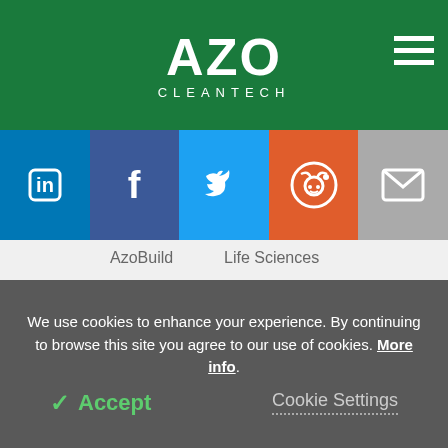[Figure (logo): AZO Cleantech logo — white text on green background with hamburger menu icon]
[Figure (infographic): Social media sharing buttons: LinkedIn (blue), Facebook (dark blue), Twitter (light blue), Reddit (orange), Email (gray)]
AzoBuild   Life Sciences
Useful Links
News
Videos
Articles
Events
Directory
Interviews
We use cookies to enhance your experience. By continuing to browse this site you agree to our use of cookies. More info.
✓ Accept   Cookie Settings